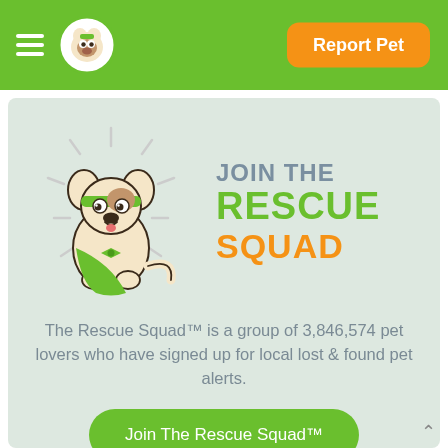[Figure (screenshot): Mobile app navigation bar with green background, hamburger menu icon, circular dog logo, and orange 'Report Pet' button]
[Figure (illustration): Cartoon dog mascot wearing a green superhero cape and headband, shown with sparkle lines around it]
JOIN THE RESCUE SQUAD
The Rescue Squad™ is a group of 3,846,574 pet lovers who have signed up for local lost & found pet alerts.
Join The Rescue Squad™